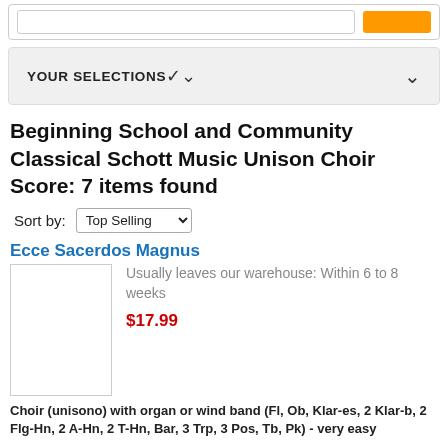YOUR SELECTIONS
Beginning School and Community Classical Schott Music Unison Choir Score: 7 items found
Sort by: Top Selling
Ecce Sacerdos Magnus
[Figure (photo): Product image placeholder for Ecce Sacerdos Magnus]
Usually leaves our warehouse: Within 6 to 8 weeks
$17.99
Choir (unisono) with organ or wind band (Fl, Ob, Klar-es, 2 Klar-b, 2 Flg-Hn, 2 A-Hn, 2 T-Hn, Bar, 3 Trp, 3 Pos, Tb, Pk) - very easy